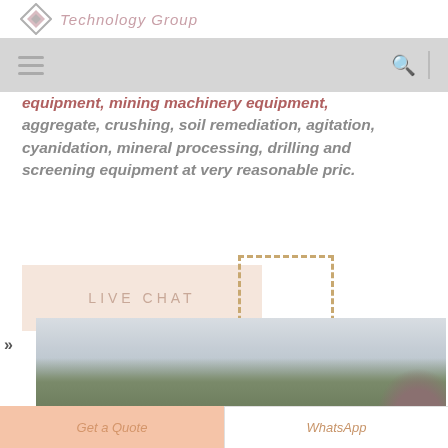[Figure (logo): Diamond/rhombus logo mark in pink/grey with 'Technology Group' text in pink italic]
[Figure (screenshot): Navigation bar with hamburger menu icon on left, search icon and vertical divider on right, grey background]
equipment, mining machinery equipment, aggregate, crushing, soil remediation, agitation, cyanidation, mineral processing, drilling and screening equipment at very reasonable pric.
[Figure (screenshot): LIVE CHAT button in light peach color with dashed box overlay in tan/gold color]
»
[Figure (photo): Landscape photo showing sky, trees and what appears to be a dome structure on the right side]
[Figure (screenshot): Bottom bar with 'Get a Quote' button in peach/salmon color on left and 'WhatsApp' button on right]